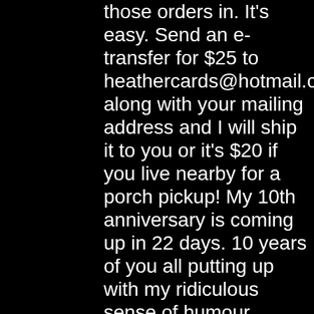those orders in. It's easy. Send an e-transfer for $25 to heathercards@hotmail.com along with your mailing address and I will ship it to you or it's $20 if you live nearby for a porch pickup! My 10th anniversary is coming up in 22 days. 10 years of you all putting up with my ridiculous sense of humour, cringing at my poor grammar and  checking out my #ChickPicotheDay. I have to decide what I will do to celebrate. Got any ideas?? OMG, THE CALENDARS JUST GOT HERE! YEEHAW! Get your orders in before they're gone. Ok, talk to you next week, I'm going to see how they turned out. Eeeek! Peace, love, kumbaya,